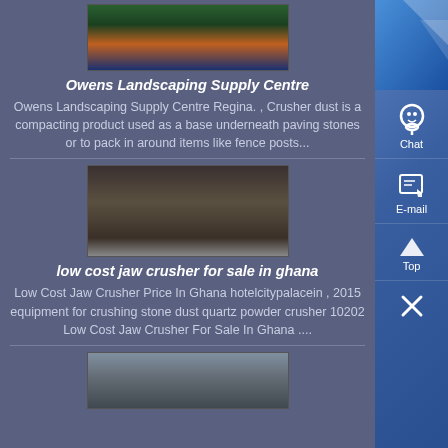[Figure (photo): Industrial machinery / landscaping equipment photo, orange and dark machinery on blue surface in warehouse]
Owens Landscaping Supply Centre
Owens Landscaping Supply Centre Regina. , Crusher dust is a compacting product used as a base underneath paving stones or to pack in around items like fence posts...
[Figure (photo): Industrial jaw crusher equipment in warehouse setting, dark metallic machinery with scaffolding]
low cost jaw crusher for sale in ghana
Low Cost Jaw Crusher Price In Ghana hotelcitypalacein , 2015 equipment for crushing stone dust quartz powder crusher 10202 Low Cost Jaw Crusher For Sale In Ghana ....
[Figure (photo): Industrial equipment partially visible at bottom of page]